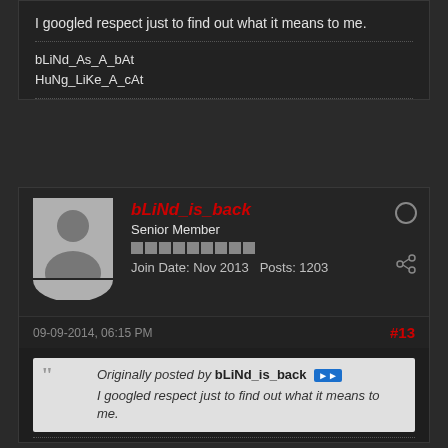I googled respect just to find out what it means to me.
bLiNd_As_A_bAt
HuNg_LiKe_A_cAt
bLiNd_is_back
Senior Member
Join Date: Nov 2013   Posts: 1203
09-09-2014, 06:15 PM
#13
Originally posted by bLiNd_is_back
I googled respect just to find out what it means to me.
That joke was probably wasted on 95% of TMB.